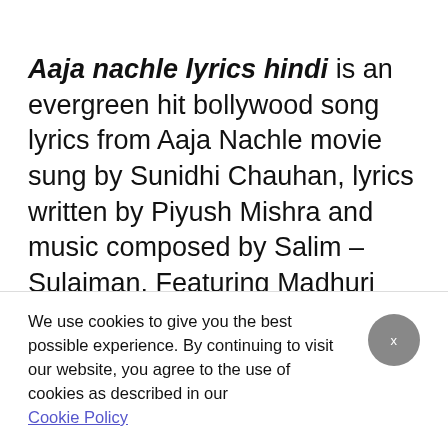Aaja nachle lyrics hindi is an evergreen hit bollywood song lyrics from Aaja Nachle movie sung by Sunidhi Chauhan, lyrics written by Piyush Mishra and music composed by Salim – Sulaiman. Featuring Madhuri Dixit, Konkona Sen, Kunal Kapoor, Akshaye Khanna. Aaja nachle nachle mere yaar lyrics in hindi also searched as aaja
We use cookies to give you the best possible experience. By continuing to visit our website, you agree to the use of cookies as described in our Cookie Policy